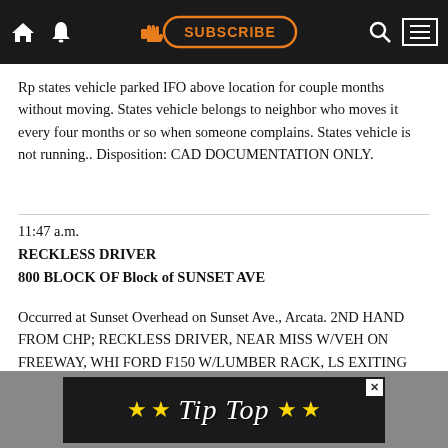SUBSCRIBE [navigation bar with home, notification, subscribe, search, menu icons]
Rp states vehicle parked IFO above location for couple months without moving. States vehicle belongs to neighbor who moves it every four months or so when someone complains. States vehicle is not running.. Disposition: CAD DOCUMENTATION ONLY.
11:47 a.m.
RECKLESS DRIVER
800 BLOCK OF Block of SUNSET AVE
Occurred at Sunset Overhead on Sunset Ave., Arcata. 2ND HAND FROM CHP; RECKLESS DRIVER, NEAR MISS W/VEH ON FREEWAY, WHI FORD F150 W/LUMBER RACK, LS EXITING SUNSET FROM NB 101.. Disposition: BRIEFING INFORMATION.
[Figure (infographic): Advertisement banner showing gold stars and cursive 'Tip Top' text on dark background with X close button]